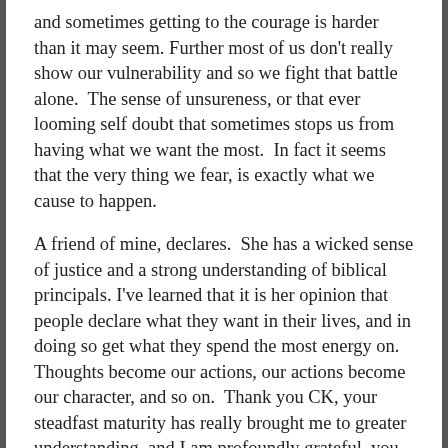and sometimes getting to the courage is harder than it may seem. Further most of us don't really show our vulnerability and so we fight that battle alone.  The sense of unsureness, or that ever looming self doubt that sometimes stops us from having what we want the most.  In fact it seems that the very thing we fear, is exactly what we cause to happen.
A friend of mine, declares.  She has a wicked sense of justice and a strong understanding of biblical principals. I've learned that it is her opinion that people declare what they want in their lives, and in doing so get what they spend the most energy on.  Thoughts become our actions, our actions become our character, and so on.  Thank you CK, your steadfast maturity has really brought me to greater understanding, and I am profoundly grateful, you don't hold me in contempt for my humanness. Your